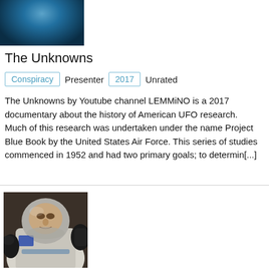[Figure (photo): Partial view of a dark blue underwater or sky scene, cropped at top]
The Unknowns
Conspiracy  Presenter  2017  Unrated
The Unknowns by Youtube channel LEMMiNO is a 2017 documentary about the history of American UFO research.   Much of this research was undertaken under the name Project Blue Book by the United States Air Force. This series of studies commenced in 1952 and had two primary goals; to determin[...]
[Figure (photo): An astronaut in a spacesuit, close-up photo, appears to be inside or exiting a spacecraft]